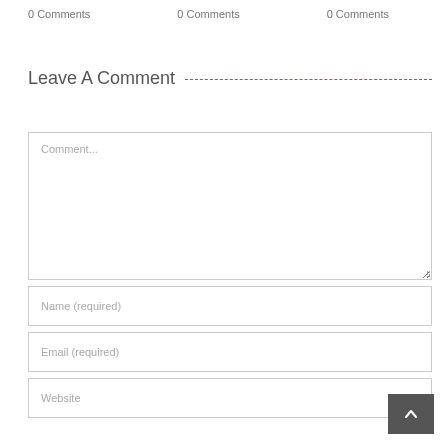0 Comments
0 Comments
0 Comments
Leave A Comment
Comment...
Name (required)
Email (required)
Website